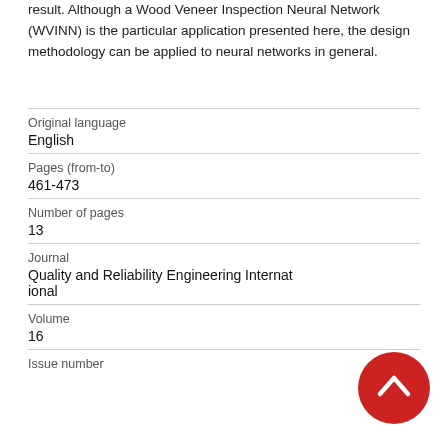result. Although a Wood Veneer Inspection Neural Network (WVINN) is the particular application presented here, the design methodology can be applied to neural networks in general.
| Original language | English |
| Pages (from-to) | 461-473 |
| Number of pages | 13 |
| Journal | Quality and Reliability Engineering International |
| Volume | 16 |
| Issue number |  |
[Figure (other): Red circular scroll-to-top button with white chevron/caret icon pointing upward]